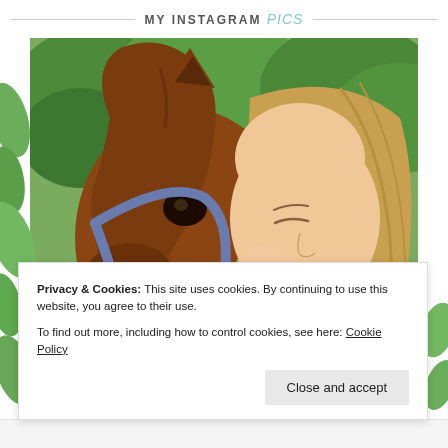MY INSTAGRAM pics
[Figure (photo): A young blonde girl leaning her cheek against the face of a chestnut brown horse wearing a blue halter, outdoors with green trees in background.]
Privacy & Cookies: This site uses cookies. By continuing to use this website, you agree to their use.
To find out more, including how to control cookies, see here: Cookie Policy
Close and accept